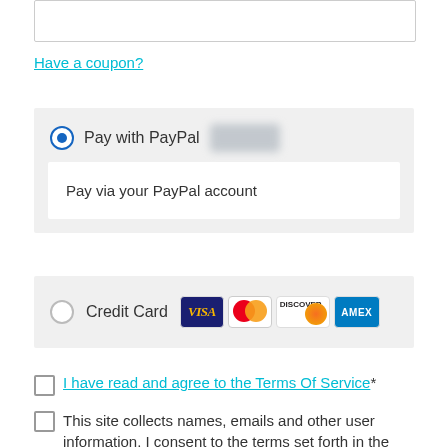Have a coupon?
Pay with PayPal — Pay via your PayPal account
Credit Card
I have read and agree to the Terms Of Service*
This site collects names, emails and other user information. I consent to the terms set forth in the